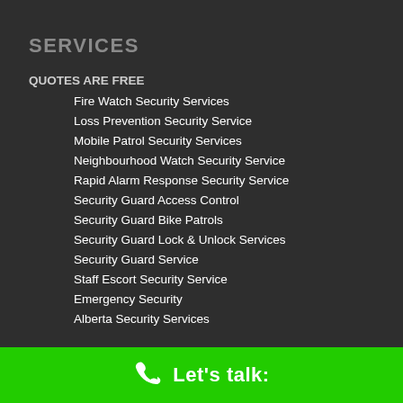SERVICES
QUOTES ARE FREE
Fire Watch Security Services
Loss Prevention Security Service
Mobile Patrol Security Services
Neighbourhood Watch Security Service
Rapid Alarm Response Security Service
Security Guard Access Control
Security Guard Bike Patrols
Security Guard Lock & Unlock Services
Security Guard Service
Staff Escort Security Service
Emergency Security
Alberta Security Services
Let's talk: